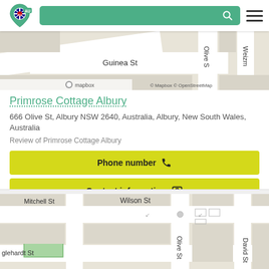[Figure (screenshot): Navigation bar with map pin logo with Australian flag, green search bar with magnifying glass icon, and hamburger menu icon]
[Figure (map): Top portion of a street map showing Guinea St, Olive St, Weizm and other streets in Albury NSW with mapbox attribution]
Primrose Cottage Albury
666 Olive St, Albury NSW 2640, Australia, Albury, New South Wales, Australia
Review of Primrose Cottage Albury
Phone number
Contact information
[Figure (map): Street map showing Mitchell St, Wilson St, Olive St, David St, glehardt St in Albury NSW area with green block and street grid]